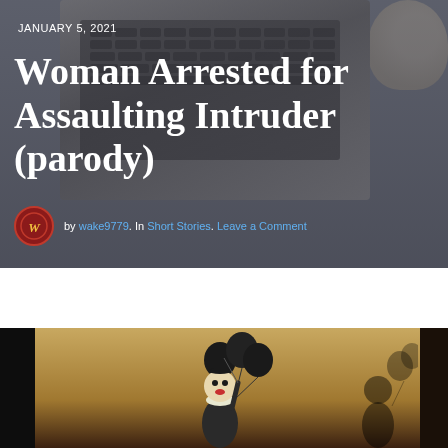JANUARY 5, 2021
Woman Arrested for Assaulting Intruder (parody)
by wake9779. In Short Stories. Leave a Comment
[Figure (photo): Dark vintage-style photo of a clown figure holding black balloons with a shadowy silhouette to the right, on a dark brown/khaki background.]